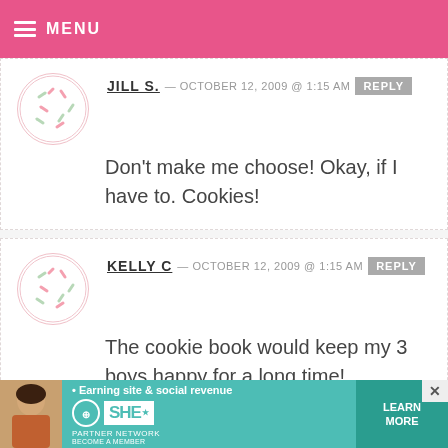MENU
JILL S. — OCTOBER 12, 2009 @ 1:15 AM   REPLY
Don't make me choose! Okay, if I have to. Cookies!
KELLY C — OCTOBER 12, 2009 @ 1:15 AM   REPLY
The cookie book would keep my 3 boys happy for a long time!
SHERI LEON — OCTOBER 12, 2009 @ 1:16 AM
[Figure (infographic): SHE partner network advertisement banner at bottom: Earning site & social revenue, LEARN MORE button]